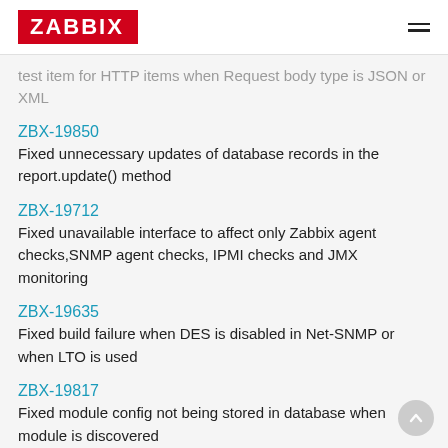ZABBIX
test item for HTTP items when Request body type is JSON or XML
ZBX-19850
Fixed unnecessary updates of database records in the report.update() method
ZBX-19712
Fixed unavailable interface to affect only Zabbix agent checks,SNMP agent checks, IPMI checks and JMX monitoring
ZBX-19635
Fixed build failure when DES is disabled in Net-SNMP or when LTO is used
ZBX-19817
Fixed module config not being stored in database when module is discovered